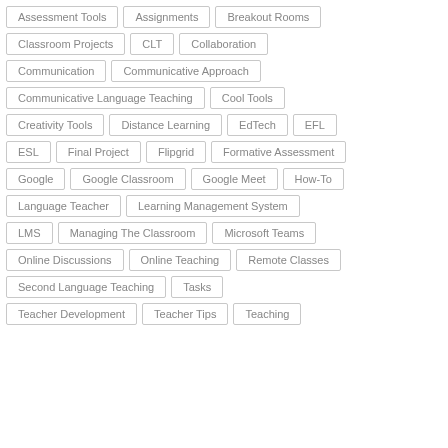Assessment Tools
Assignments
Breakout Rooms
Classroom Projects
CLT
Collaboration
Communication
Communicative Approach
Communicative Language Teaching
Cool Tools
Creativity Tools
Distance Learning
EdTech
EFL
ESL
Final Project
Flipgrid
Formative Assessment
Google
Google Classroom
Google Meet
How-To
Language Teacher
Learning Management System
LMS
Managing The Classroom
Microsoft Teams
Online Discussions
Online Teaching
Remote Classes
Second Language Teaching
Tasks
Teacher Development
Teacher Tips
Teaching